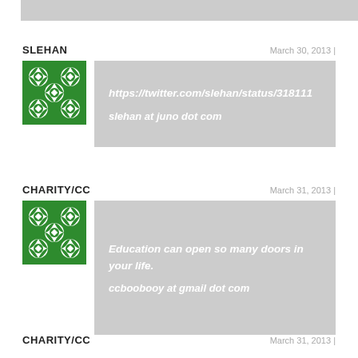[Figure (other): Gray bar at top of page]
SLEHAN
March 30, 2013 |
[Figure (illustration): Green and white geometric pattern avatar for SLEHAN]
https://twitter.com/slehan/status/318111
slehan at juno dot com
CHARITY/CC
March 31, 2013 |
[Figure (illustration): Green and white geometric pattern avatar for CHARITY/CC]
Education can open so many doors in your life.
ccboobooy at gmail dot com
CHARITY/CC
March 31, 2013 |